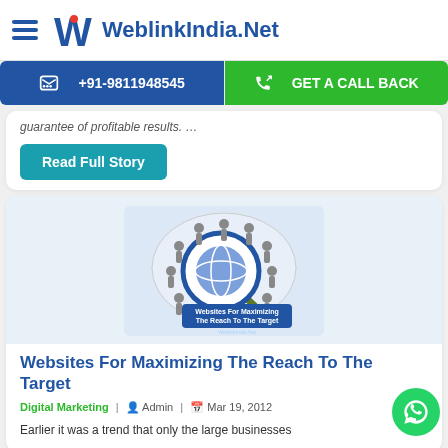WeblinkIndia.Net
+91-9811948545 | GET A CALL BACK
guarantee of profitable results. …
Read Full Story
[Figure (illustration): Websites For Maximizing The Reach To The Target - decorative image showing a magnifying glass over a globe with people figures]
Websites For Maximizing The Reach To The Target
Digital Marketing | Admin | Mar 19, 2012
Earlier it was a trend that only the large businesses